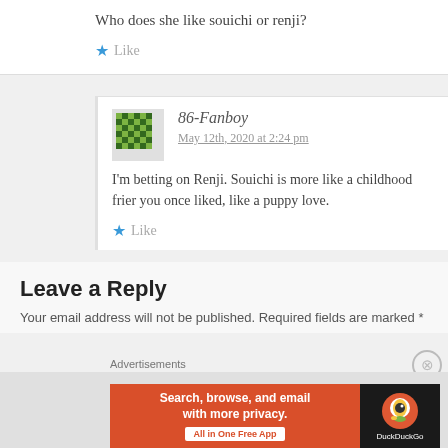Who does she like souichi or renji?
Like
86-Fanboy
May 12th, 2020 at 2:24 pm
I'm betting on Renji. Souichi is more like a childhood frier you once liked, like a puppy love.
Like
Leave a Reply
Your email address will not be published. Required fields are marked *
Advertisements
[Figure (other): DuckDuckGo advertisement banner: Search, browse, and email with more privacy. All in One Free App]